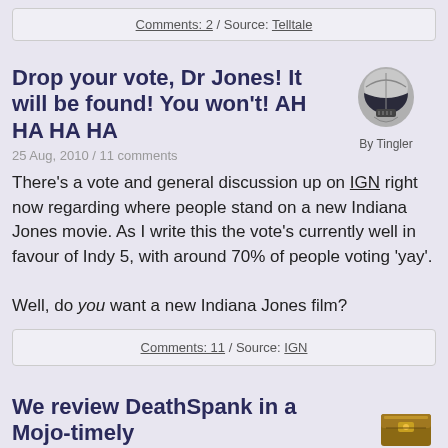Comments: 2 / Source: Telltale
Drop your vote, Dr Jones! It will be found! You won't! AH HA HA HA
25 Aug, 2010 / 11 comments
[Figure (illustration): Author avatar of Tingler - Darth Vader helmet graphic with text 'By Tingler']
There's a vote and general discussion up on IGN right now regarding where people stand on a new Indiana Jones movie. As I write this the vote's currently well in favour of Indy 5, with around 70% of people voting 'yay'.

Well, do you want a new Indiana Jones film?
Comments: 11 / Source: IGN
We review DeathSpank in a Mojo-timely